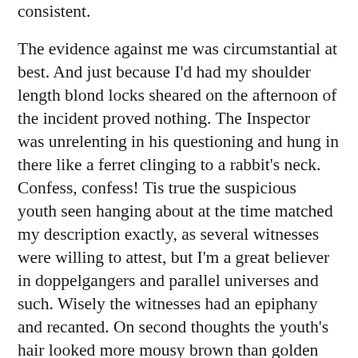consistent.
The evidence against me was circumstantial at best. And just because I'd had my shoulder length blond locks sheared on the afternoon of the incident proved nothing. The Inspector was unrelenting in his questioning and hung in there like a ferret clinging to a rabbit's neck. Confess, confess! Tis true the suspicious youth seen hanging about at the time matched my description exactly, as several witnesses were willing to attest, but I'm a great believer in doppelgangers and parallel universes and such. Wisely the witnesses had an epiphany and recanted. On second thoughts the youth's hair looked more mousy brown than golden hued. This ruled me out in a thrice. No way it could be me as I had just washed my golden locks which bedazzled in the sun and bathed the scene in an ethereal glow as if a cleansing H bomb had gone off in Tipton High Street. Here is a gratuitous tip: never use cheap shampoo or conditioner- false economy and I should know. Have I digressed? Anyway, without witnesses or a confession the poor Inspector was bereft of a conviction. No court in the land would have convicted on the evidence to hand and rightly so. It is better for ten guilty men to go free than one innocent man to be unjustly convicted.